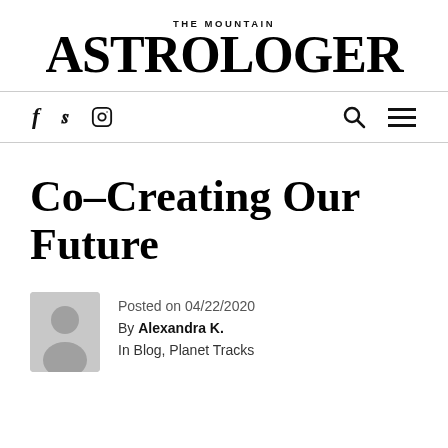THE MOUNTAIN
ASTROLOGER
f  y  [instagram]  [search]  [menu]
Co–Creating Our Future
Posted on 04/22/2020
By Alexandra K.
In Blog, Planet Tracks